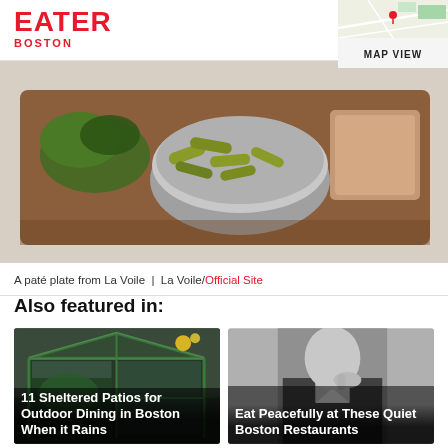EATER BOSTON
[Figure (photo): Map thumbnail in top right corner of the page header]
MAP VIEW
[Figure (photo): A paté plate from La Voile — food on a wooden board with pickles in a metal bowl]
A paté plate from La Voile | La Voile/Official Site
Also featured in:
[Figure (photo): 11 Sheltered Patios for Outdoor Dining in Boston When it Rains — greenhouse/glass patio structure]
[Figure (photo): Eat Peacefully at These Quiet Boston Restaurants — black and white photo of a person in a suit with finger to lips]